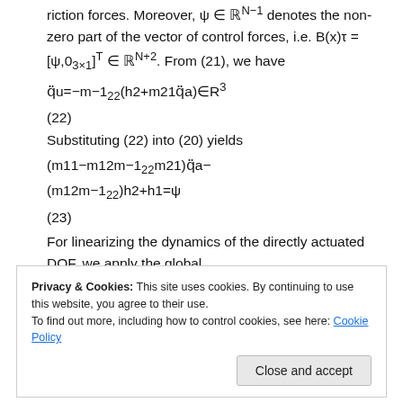riction forces. Moreover, ψ ∈ ℝN−1 denotes the non-zero part of the vector of control forces, i.e. B(x)τ = [ψ,03×1]T ∈ ℝN+2. From (21), we have
(22)
Substituting (22) into (20) yields
(23)
For linearizing the dynamics of the directly actuated DOF, we apply the global
Privacy & Cookies: This site uses cookies. By continuing to use this website, you agree to their use.
To find out more, including how to control cookies, see here: Cookie Policy
dynamic model (20), (21) can be written in the